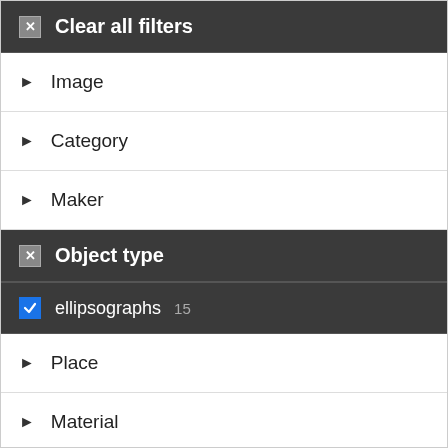Clear all filters
Image
Category
Maker
Object type
ellipsographs 15
Place
Material
Date
Mathematics
Instrument for drawing oval curves